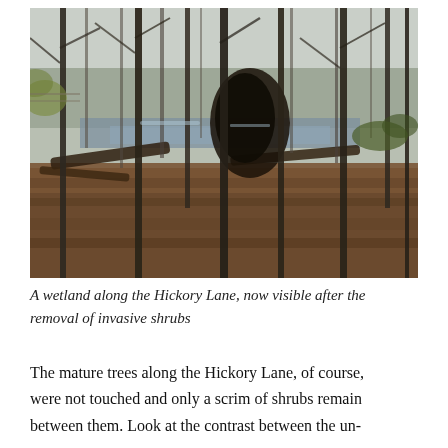[Figure (photo): A wetland scene viewed through bare winter trees with fallen logs in the foreground and brown leaf litter covering the ground. Water is visible in the background between the trees.]
A wetland along the Hickory Lane, now visible after the removal of invasive shrubs
The mature trees along the Hickory Lane, of course, were not touched and only a scrim of shrubs remain between them. Look at the contrast between the un-